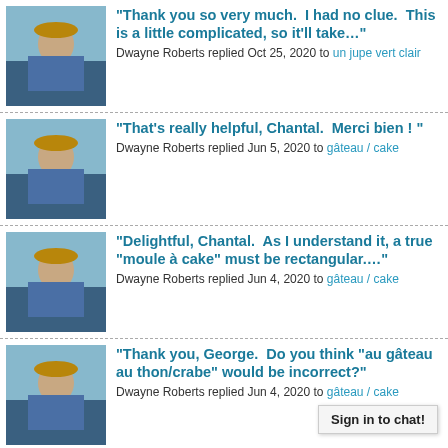"Thank you so very much.  I had no clue.  This is a little complicated, so it'll take…" — Dwayne Roberts replied Oct 25, 2020 to un jupe vert clair
"That's really helpful, Chantal.  Merci bien ! " — Dwayne Roberts replied Jun 5, 2020 to gâteau / cake
"Delightful, Chantal.  As I understand it, a true "moule à cake" must be rectangular…." — Dwayne Roberts replied Jun 4, 2020 to gâteau / cake
"Thank you, George.  Do you think "au gâteau au thon/crabe" would be incorrect?" — Dwayne Roberts replied Jun 4, 2020 to gâteau / cake
"Je vous remercie, Chantal." — Dwayne Roberts replied Mar 14, 2020 to S'il vous plaitaît
"Merci bien. " — Dwayne Roberts replied Mar 12, 2020
Sign in to chat!